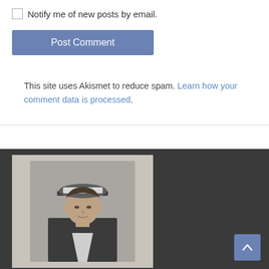Notify me of new posts by email.
Post Comment
This site uses Akismet to reduce spam. Learn how your comment data is processed.
[Figure (photo): Black and white portrait photograph of a young man wearing a naval officer's cap and uniform, framed and displayed against a light background. Shown in the lower left of a dark footer section.]